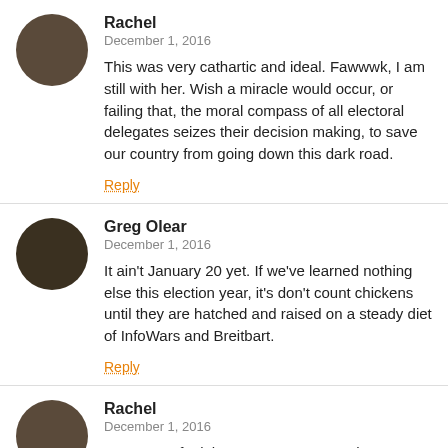Rachel
December 1, 2016
This was very cathartic and ideal. Fawwwk, I am still with her. Wish a miracle would occur, or failing that, the moral compass of all electoral delegates seizes their decision making, to save our country from going down this dark road.
Reply
Greg Olear
December 1, 2016
It ain't January 20 yet. If we've learned nothing else this election year, it's don't count chickens until they are hatched and raised on a steady diet of InfoWars and Breitbart.
Reply
Rachel
December 1, 2016
Trust me, I feel the exact same way. The way things have gone, why wouldn't they keep